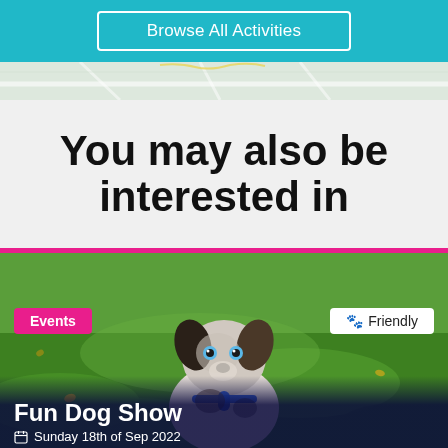Browse All Activities
You may also be interested in
[Figure (photo): Photo of an Australian Shepherd puppy sitting on green grass, wearing a blue harness, with fallen leaves visible. Overlaid with an 'Events' pink badge and a 'Friendly' white badge with paw print icon.]
Events
🐾 Friendly
Fun Dog Show
Sunday 18th of Sep 2022